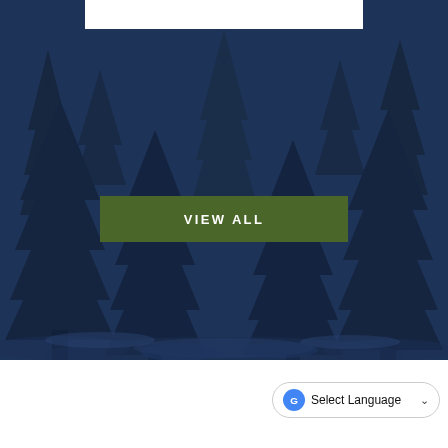[Figure (illustration): Dark navy blue background with silhouetted pine/fir forest trees, creating a layered winter forest scene. A white rectangular card is partially visible at the top center. A green 'VIEW ALL' button is centered over the forest illustration.]
VIEW ALL
[Figure (screenshot): Google Translate 'Select Language' widget button with dropdown chevron, positioned at bottom right of page on white background.]